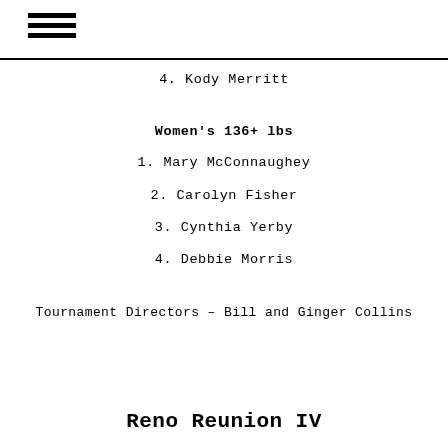≡
4. Kody Merritt
Women's 136+ lbs
1. Mary McConnaughey
2. Carolyn Fisher
3. Cynthia Yerby
4. Debbie Morris
Tournament Directors – Bill and Ginger Collins
Reno Reunion IV